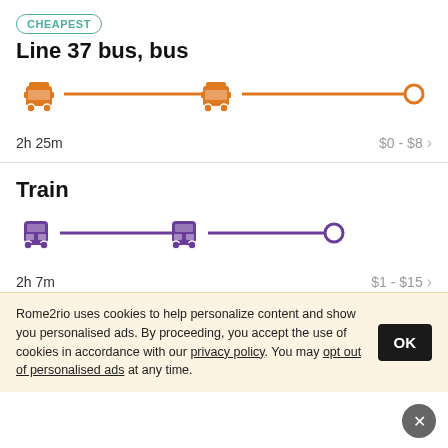CHEAPEST
Line 37 bus, bus
[Figure (infographic): Orange route line with two bus icons and a circle endpoint, representing a bus route]
2h 25m
$0 - $8
Train
[Figure (infographic): Purple route line with two train icons and a circle endpoint, representing a train route]
2h 7m
$1 - $15
Taxi
$100 - $130
Rome2rio uses cookies to help personalize content and show you personalised ads. By proceeding, you accept the use of cookies in accordance with our privacy policy. You may opt out of personalised ads at any time.